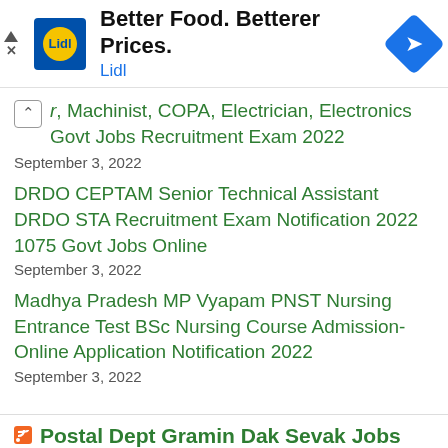[Figure (other): Lidl advertisement banner with logo, headline 'Better Food. Betterer Prices.' and navigation icon]
r, Machinist, COPA, Electrician, Electronics Govt Jobs Recruitment Exam 2022
September 3, 2022
DRDO CEPTAM Senior Technical Assistant DRDO STA Recruitment Exam Notification 2022 1075 Govt Jobs Online
September 3, 2022
Madhya Pradesh MP Vyapam PNST Nursing Entrance Test BSc Nursing Course Admission- Online Application Notification 2022
September 3, 2022
Postal Dept Gramin Dak Sevak Jobs